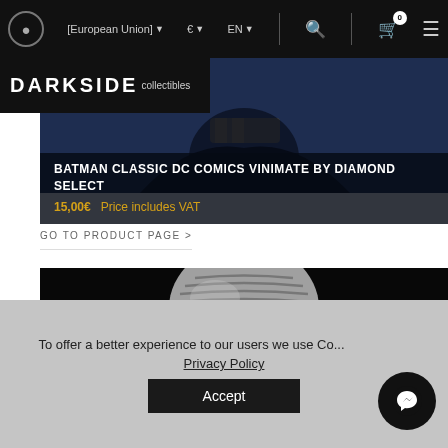[European Union] € EN 0
[Figure (logo): Darkside Collectibles logo in white on black background]
[Figure (photo): Batman Classic DC Comics Vinimate product image - dark blue/purple background]
BATMAN CLASSIC DC COMICS VINIMATE BY DIAMOND SELECT
15,00€   Price includes VAT
GO TO PRODUCT PAGE >
[Figure (photo): Star Wars silver/chrome stormtrooper helmet (Captain Phasma style) on black background]
To offer a better experience to our users we use Co... Privacy Policy
Accept